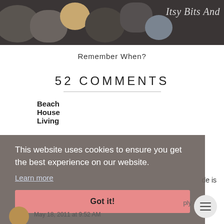[Figure (photo): Dark background photo of smooth stones/rocks with white italic text 'Itsy Bits And' overlaid on the right side]
Remember When?
52 COMMENTS
Beach House Living
This website uses cookies to ensure you get the best experience on our website.
Learn more
Got it!
de is
May 18, 2011 at 9:52 AM